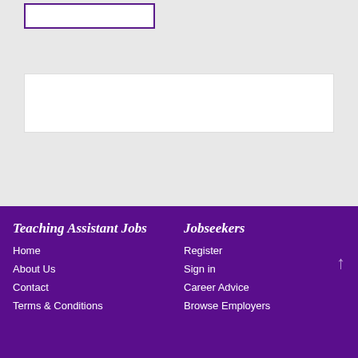[Figure (other): Top section with a bordered box/card element and a white content block on a light gray background]
Teaching Assistant Jobs | Home | About Us | Contact | Terms & Conditions | Jobseekers | Register | Sign in | Career Advice | Browse Employers